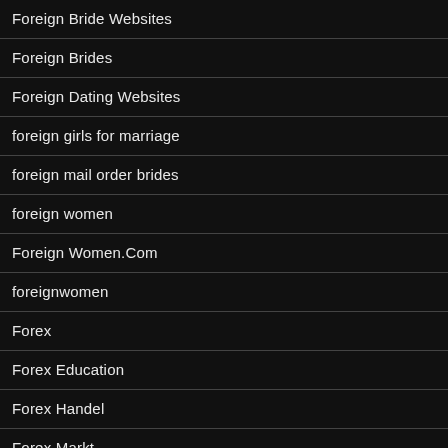Foreign Bride Websites
Foreign Brides
Foreign Dating Websites
foreign girls for marriage
foreign mail order brides
foreign women
Foreign Women.Com
foreignwomen
Forex
Forex Education
Forex Handel
Forex Markt
Forex news